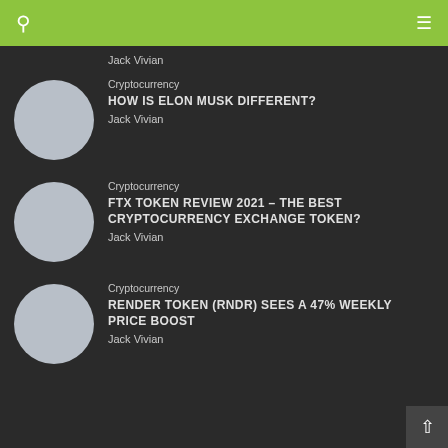navigation bar with search and menu icons
Jack Vivian
Cryptocurrency
HOW IS ELON MUSK DIFFERENT?
Jack Vivian
Cryptocurrency
FTX TOKEN REVIEW 2021 – THE BEST CRYPTOCURRENCY EXCHANGE TOKEN?
Jack Vivian
Cryptocurrency
RENDER TOKEN (RNDR) SEES A 47% WEEKLY PRICE BOOST
Jack Vivian